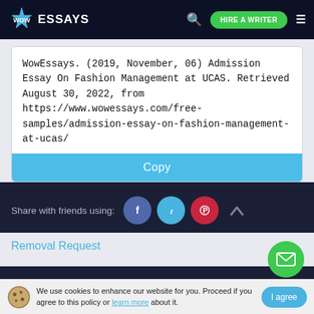WOW ESSAYS | HIRE A WRITER
WowEssays. (2019, November, 06) Admission Essay On Fashion Management at UCAS. Retrieved August 30, 2022, from https://www.wowessays.com/free-samples/admission-essay-on-fashion-management-at-ucas/
Copy
Share with friends using:
Removal Request
We use cookies to enhance our website for you. Proceed if you agree to this policy or learn more about it.